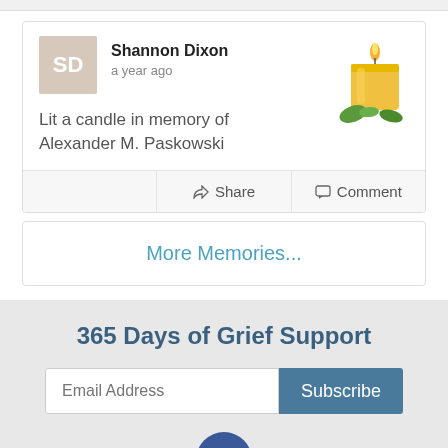Shannon Dixon
a year ago
Lit a candle in memory of Alexander M. Paskowski
Share   Comment
More Memories...
365 Days of Grief Support
Email Address   Subscribe
© Charles O. Dimond Funeral Home